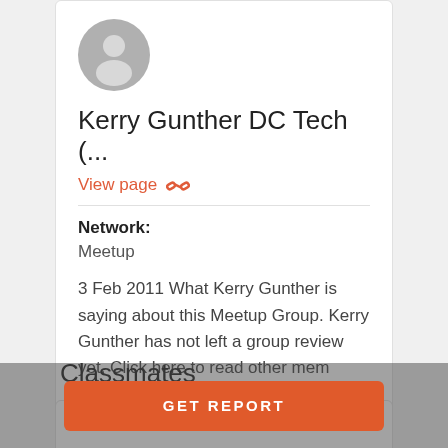[Figure (illustration): Gray circular avatar with silhouette of a person]
Kerry Gunther DC Tech (...
View page 🔗
Network:
Meetup
3 Feb 2011 What Kerry Gunther is saying about this Meetup Group. Kerry Gunther has not left a group review yet. Click here to read other members' group ...
Classmates
GET REPORT